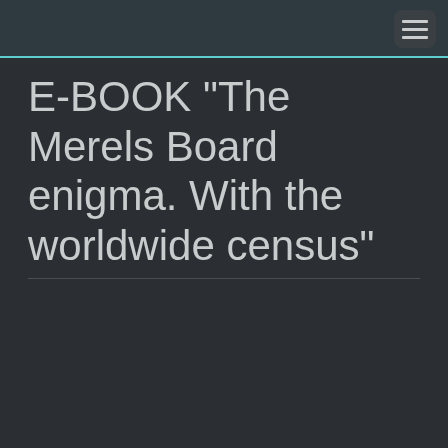E-BOOK "The Merels Board enigma. With the worldwide census"